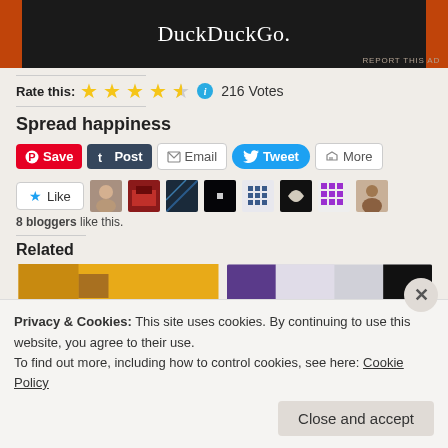[Figure (screenshot): DuckDuckGo advertisement banner with dark background and orange side panels]
REPORT THIS AD
Rate this: ★★★★½ ℹ 216 Votes
Spread happiness
[Figure (infographic): Social sharing buttons: Save (Pinterest), Post (Tumblr), Email, Tweet, More]
[Figure (infographic): Like button and blogger avatar thumbnails. 8 bloggers like this.]
8 bloggers like this.
Related
[Figure (photo): Two related article thumbnail images]
Privacy & Cookies: This site uses cookies. By continuing to use this website, you agree to their use.
To find out more, including how to control cookies, see here: Cookie Policy